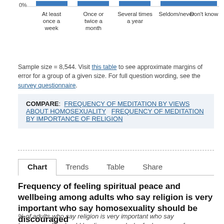[Figure (bar-chart): Partial bar chart visible at top of page showing 0% label and x-axis category labels]
Sample size = 8,544. Visit this table to see approximate margins of error for a group of a given size. For full question wording, see the survey questionnaire.
COMPARE: FREQUENCY OF MEDITATION BY VIEWS ABOUT HOMOSEXUALITY   FREQUENCY OF MEDITATION BY IMPORTANCE OF RELIGION
Chart   Trends   Table   Share
Frequency of feeling spiritual peace and wellbeing among adults who say religion is very important who say homosexuality should be discouraged
% of adults who say religion is very important who say homosexuality should be discouraged who feel a sense of